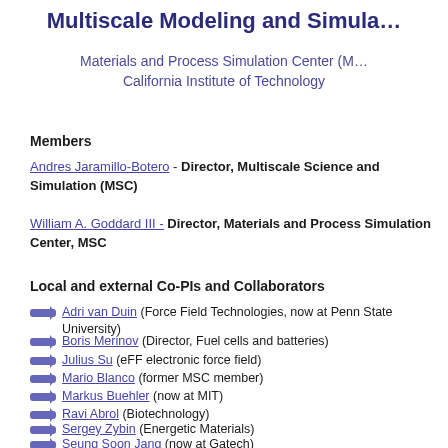Multiscale Modeling and Simula…
Materials and Process Simulation Center (M…)
California Institute of Technology
Members
Andres Jaramillo-Botero - Director, Multiscale Science and Simulation (MSC)
William A. Goddard III - Director, Materials and Process Simulation Center, MSC
Local and external Co-PIs and Collaborators
Adri van Duin (Force Field Technologies, now at Penn State University)
Boris Merinov (Director, Fuel cells and batteries)
Julius Su (eFF electronic force field)
Mario Blanco (former MSC member)
Markus Buehler (now at MIT)
Ravi Abrol (Biotechnology)
Sergey Zybin (Energetic Materials)
Seung Soon Jang (now at Gatech)
Youyong Li (Functional Materials and Biotech, …)